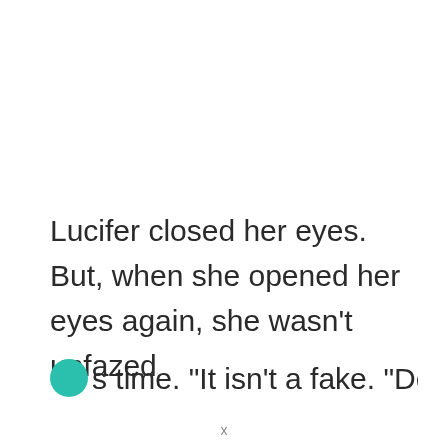Lucifer closed her eyes. But, when she opened her eyes again, she wasn't unfazed this time. "It isn't a fake. "Dead Sea...
x